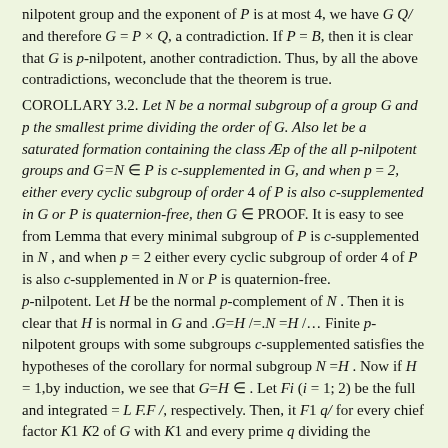nilpotent group and the exponent of P is at most 4, we have G Q/ and therefore G = P × Q, a contradiction. If P = B, then it is clear that G is p-nilpotent, another contradiction. Thus, by all the above contradictions, weconclude that the theorem is true.
COROLLARY 3.2. Let N be a normal subgroup of a group G and p the smallest prime dividing the order of G. Also let be a saturated formation containing the class Æp of the all p-nilpotent groups and G=N ∈ P is c-supplemented in G, and when p = 2, either every cyclic subgroup of order 4 of P is also c-supplemented in G or P is quaternion-free, then G ∈ PROOF. It is easy to see from Lemma that every minimal subgroup of P is c-supplemented in N , and when p = 2 either every cyclic subgroup of order 4 of P is also c-supplemented in N or P is quaternion-free. p-nilpotent. Let H be the normal p-complement of N . Then it is clear that H is normal in G and .G=H /=.N =H /… Finite p-nilpotent groups with some subgroups c-supplemented satisfies the hypotheses of the corollary for normal subgroup N =H . Now if H = 1,by induction, we see that G=H ∈ . Let Fi (i = 1; 2) be the full and integrated = L F.F /, respectively. Then, it F1 q/ for every chief factor K1 K2 of G with K1 and every prime q dividing the